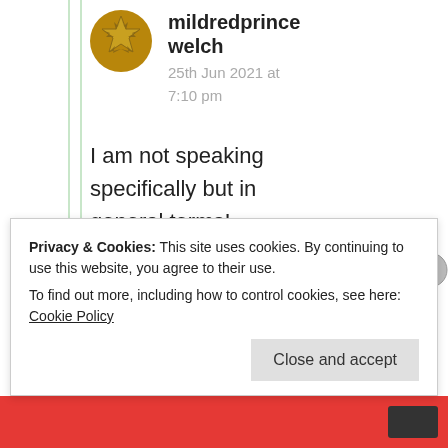[Figure (illustration): Gold star/badge avatar icon for user mildredprince welch]
mildredprince welch
25th Jun 2021 at 7:10 pm
I am not speaking specifically but in general terms!
★ Liked by 1 person
Advertisements
Privacy & Cookies: This site uses cookies. By continuing to use this website, you agree to their use.
To find out more, including how to control cookies, see here: Cookie Policy
Close and accept